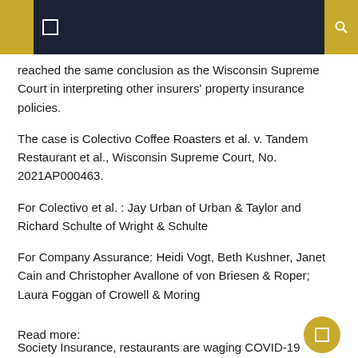reached the same conclusion as the Wisconsin Supreme Court in interpreting other insurers' property insurance policies.
The case is Colectivo Coffee Roasters et al. v. Tandem Restaurant et al., Wisconsin Supreme Court, No. 2021AP000463.
For Colectivo et al. : Jay Urban of Urban & Taylor and Richard Schulte of Wright & Schulte
For Company Assurance: Heidi Vogt, Beth Kushner, Janet Cain and Christopher Avallone of von Briesen & Roper; Laura Foggan of Crowell & Moring
Read more:
Society Insurance, restaurants are waging COVID-19